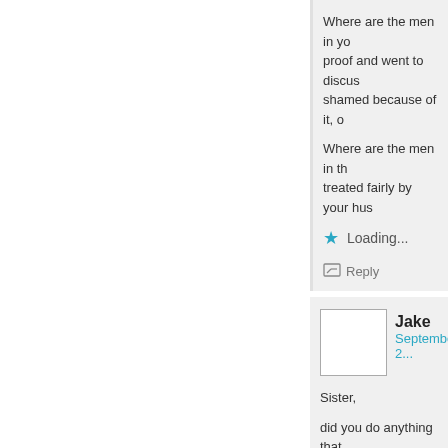Where are the men in yo... proof and went to discus... shamed because of it, o...
Where are the men in th... treated fairly by your hus...
Loading...
Reply
Jake
September 2...
Sister,
did you do anything that...
Loading...
Reply